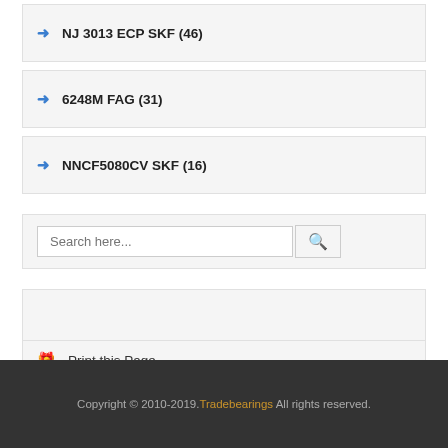NJ 3013 ECP SKF (46)
6248M FAG (31)
NNCF5080CV SKF (16)
Search here...
Print this Page
Copyright © 2010-2019. Tradebearings All rights reserved.